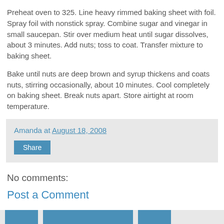Preheat oven to 325. Line heavy rimmed baking sheet with foil. Spray foil with nonstick spray. Combine sugar and vinegar in small saucepan. Stir over medium heat until sugar dissolves, about 3 minutes. Add nuts; toss to coat. Transfer mixture to baking sheet.
Bake until nuts are deep brown and syrup thickens and coats nuts, stirring occasionally, about 10 minutes. Cool completely on baking sheet. Break nuts apart. Store airtight at room temperature.
Amanda at August 18, 2008
Share
No comments:
Post a Comment